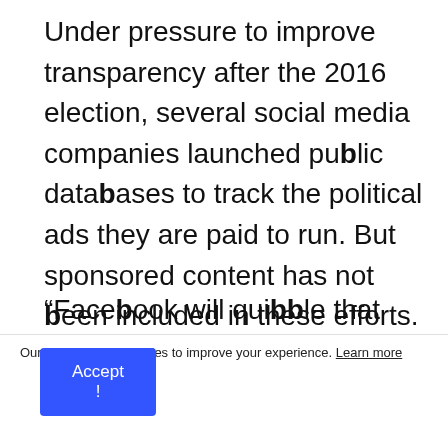Under pressure to improve transparency after the 2016 election, several social media companies launched public databases to track the political ads they are paid to run. But sponsored content has not been included in these efforts.
“Facebook will quibble that this is something different from an ad
Our website uses cookies to improve your experience. Learn more
Accept !